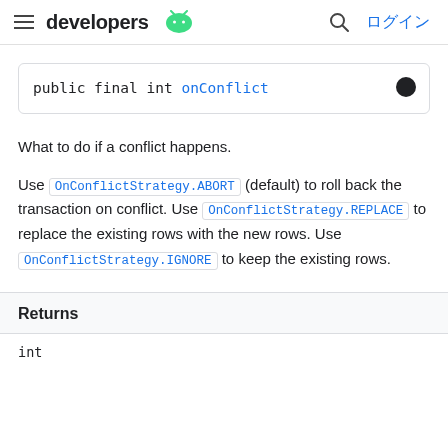developers [Android logo] | [search icon] ログイン
public final int onConflict
What to do if a conflict happens.
Use OnConflictStrategy.ABORT (default) to roll back the transaction on conflict. Use OnConflictStrategy.REPLACE to replace the existing rows with the new rows. Use OnConflictStrategy.IGNORE to keep the existing rows.
Returns
int